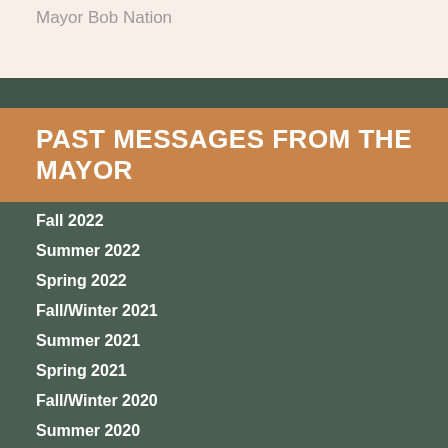Mayor Bob Nation
PAST MESSAGES FROM THE MAYOR
Fall 2022
Summer 2022
Spring 2022
Fall/Winter 2021
Summer 2021
Spring 2021
Fall/Winter 2020
Summer 2020
Spring 2020
Winter 2019
Fall 2019